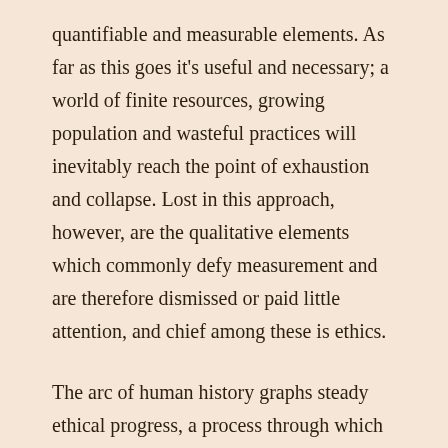quantifiable and measurable elements. As far as this goes it's useful and necessary; a world of finite resources, growing population and wasteful practices will inevitably reach the point of exhaustion and collapse. Lost in this approach, however, are the qualitative elements which commonly defy measurement and are therefore dismissed or paid little attention, and chief among these is ethics.
The arc of human history graphs steady ethical progress, a process through which the higher social values of humanity have been enlarged. Thus slavery, once employed as a primary economic engine of an ascendant America is now illegal and considered an abhorrent evil best left to the past. Increased freedom and opportunity for minorities, women and the disabled